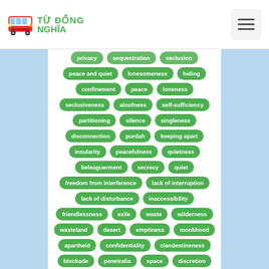Từ Đồng Nghĩa
peace and quiet
lonesomeness
hiding
confinement
peace
loneness
seclusiveness
aloofness
self-sufficiency
partitioning
silence
singleness
disconnection
purdah
keeping apart
insularity
peacefulness
quietness
beleaguerment
secrecy
quiet
freedom from interference
lack of interruption
lack of disturbance
inaccessibility
friendlessness
exile
waste
wilderness
wasteland
desert
emptiness
monkhood
apartheid
confidentiality
clandestineness
blockade
penetralia
space
discretion